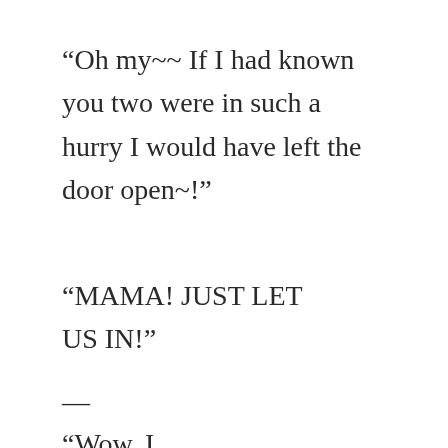“Oh my~~ If I had known you two were in such a hurry I would have left the door open~!”
“MAMA! JUST LET US IN!”
—
“Wow, I